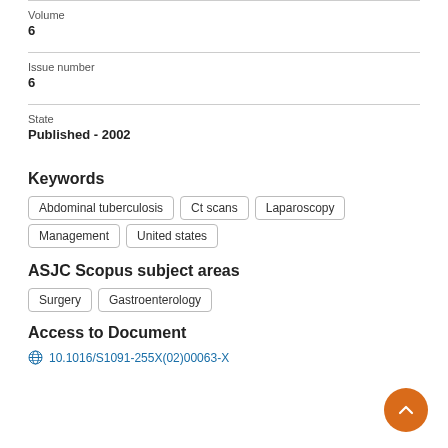Volume
6
Issue number
6
State
Published - 2002
Keywords
Abdominal tuberculosis
Ct scans
Laparoscopy
Management
United states
ASJC Scopus subject areas
Surgery
Gastroenterology
Access to Document
10.1016/S1091-255X(02)00063-X